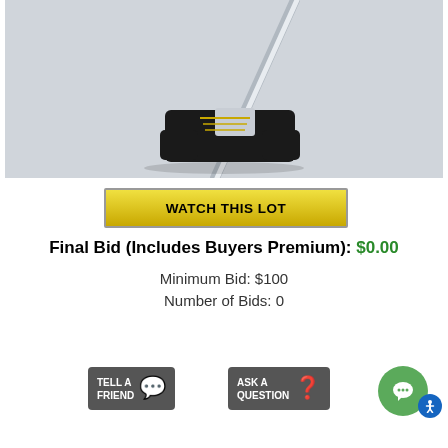[Figure (photo): Photo of a black golf putter head with gold stripe detail and chrome shaft, on a light grey background]
WATCH THIS LOT
Final Bid (Includes Buyers Premium): $0.00
Minimum Bid: $100
Number of Bids: 0
[Figure (other): Tell a Friend and Ask a Question buttons, plus chat circle and accessibility icon]